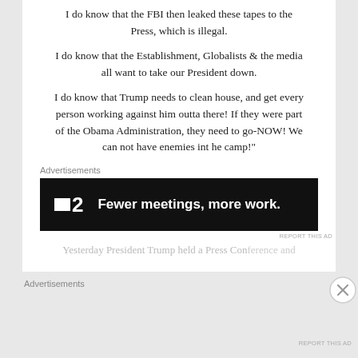I do know that the FBI then leaked these tapes to the Press, which is illegal.
I do know that the Establishment, Globalists & the media all want to take our President down.
I do know that Trump needs to clean house, and get every person working against him outta there! If they were part of the Obama Administration, they need to go-NOW! We can not have enemies int he camp!"
Advertisements
[Figure (screenshot): Advertisement banner: black background with Plan logo (square icon + '2') and text 'Fewer meetings, more work.']
REPORT THIS AD
Yesterday President Trump held a Press Conference and...
Advertisements
REPORT THIS AD